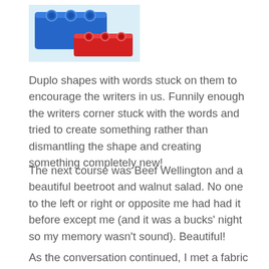[Figure (photo): Two Lego/Duplo bricks — a large blue brick and a smaller red brick — on a light background.]
Duplo shapes with words stuck on them to encourage the writers in us. Funnily enough the writers corner stuck with the words and tried to create something rather than dismantling the shape and creating something completely new!
The next course was Beef Wellington and a beautiful beetroot and walnut salad. No one to the left or right or opposite me had had it before except me (and it was a bucks' night so my memory wasn't sound). Beautiful!
As the conversation continued, I met a fabric